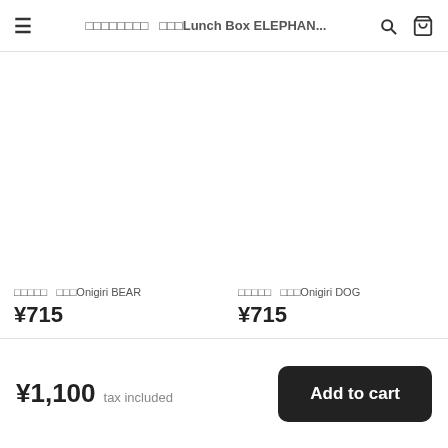≡  □□□□□□□□  □□□Lunch Box ELEPHAN... 🔍 🛒
□□□□□  □□□Onigiri BEAR
¥715
□□□□□  □□□Onigiri DOG
¥715
¥1,100  tax included   Add to cart